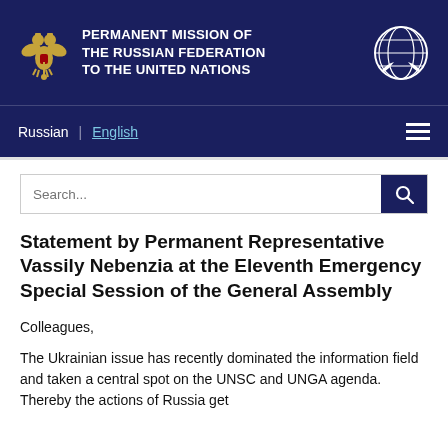PERMANENT MISSION OF THE RUSSIAN FEDERATION TO THE UNITED NATIONS
Russian | English
Statement by Permanent Representative Vassily Nebenzia at the Eleventh Emergency Special Session of the General Assembly
Colleagues,
The Ukrainian issue has recently dominated the information field and taken a central spot on the UNSC and UNGA agenda. Thereby the actions of Russia get